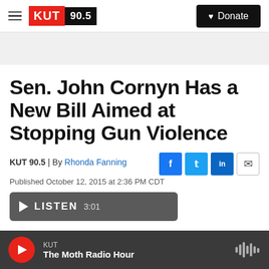KUT 90.5 | Donate
Sen. John Cornyn Has a New Bill Aimed at Stopping Gun Violence
KUT 90.5 | By Rhonda Fanning
Published October 12, 2015 at 2:36 PM CDT
KUT | The Moth Radio Hour